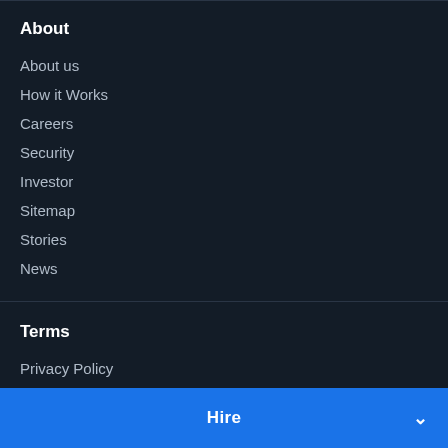About
About us
How it Works
Careers
Security
Investor
Sitemap
Stories
News
Terms
Privacy Policy
Terms and Conditions
Copyright Policy
Hire